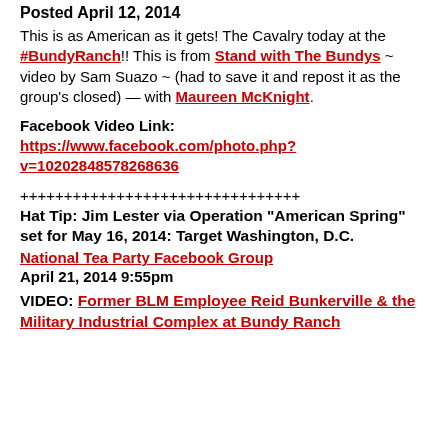Posted April 12, 2014
This is as American as it gets! The Cavalry today at the #BundyRanch!! This is from Stand with The Bundys ~ video by Sam Suazo ~ (had to save it and repost it as the group's closed) — with Maureen McKnight.
Facebook Video Link:
https://www.facebook.com/photo.php?v=10202848578268636
++++++++++++++++++++++++++++++++
Hat Tip: Jim Lester via Operation "American Spring" set for May 16, 2014: Target Washington, D.C.
National Tea Party Facebook Group
April 21, 2014 9:55pm
VIDEO: Former BLM Employee Reid Bunkerville & the Military Industrial Complex at Bundy Ranch